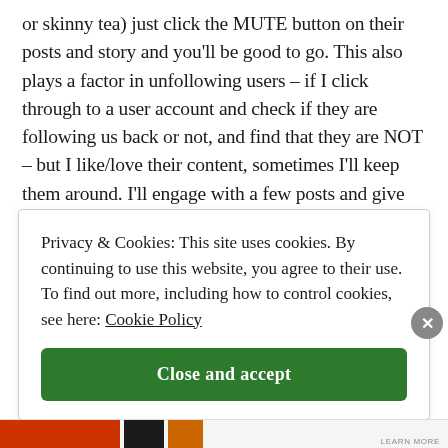or skinny tea) just click the MUTE button on their posts and story and you'll be good to go. This also plays a factor in unfollowing users – if I click through to a user account and check if they are following us back or not, and find that they are NOT – but I like/love their content, sometimes I'll keep them around. I'll engage with a few posts and give them a shot to follow us back.
Privacy & Cookies: This site uses cookies. By continuing to use this website, you agree to their use. To find out more, including how to control cookies, see here: Cookie Policy
Close and accept